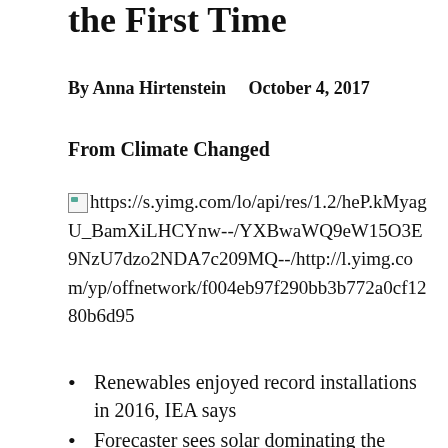the First Time
By Anna Hirtenstein    October 4, 2017
From Climate Changed
[Figure (other): Broken image placeholder followed by image URL: https://s.yimg.com/lo/api/res/1.2/heP.kMyagU_BamXiLHCYnw--/YXBwaWQ9eW15O3E9NzU7dzo2NDA7c209MQ--/http://l.yimg.com/yp/offnetwork/f004eb97f290bb3b772a0cf1280b6d95]
Renewables enjoyed record installations in 2016, IEA says
Forecaster sees solar dominating the renewable industry